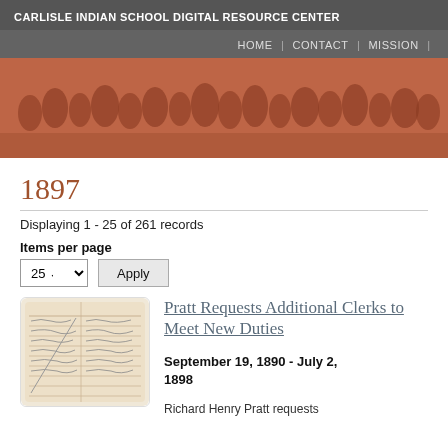CARLISLE INDIAN SCHOOL DIGITAL RESOURCE CENTER
HOME | CONTACT | MISSION |
[Figure (photo): Sepia-toned historical group photograph of Native American people, men and women wearing blankets and traditional clothing, posed in front of a wooden structure.]
1897
Displaying 1 - 25 of 261 records
Items per page
25  Apply
[Figure (photo): Thumbnail image of a handwritten ledger or document page with columns and rows of handwritten entries.]
Pratt Requests Additional Clerks to Meet New Duties
September 19, 1890 - July 2, 1898
Richard Henry Pratt requests